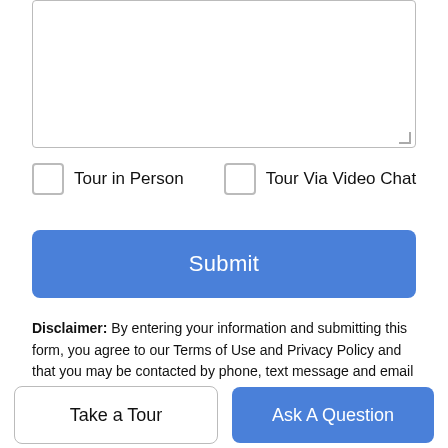[Figure (other): Textarea input box with resize handle in bottom-right corner]
Tour in Person
Tour Via Video Chat
Submit
Disclaimer: By entering your information and submitting this form, you agree to our Terms of Use and Privacy Policy and that you may be contacted by phone, text message and email about your inquiry.
© 2022 of Spokane Association of REALTORS® MLS. All rights reserved. Listing information courtesy of Spokane Association of REALTORS® MLS. IDX data is provided exclusively for consumers' personal, non-commercial use, and may not be used for any purpose other than to identify prospective properties of interest.
Take a Tour
Ask A Question